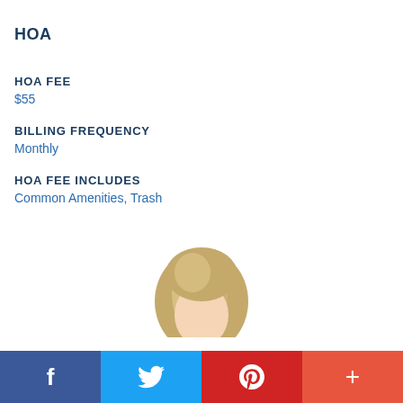HOA
HOA FEE
$55
BILLING FREQUENCY
Monthly
HOA FEE INCLUDES
Common Amenities, Trash
[Figure (photo): Partial photo of a person with blonde hair, cropped at bottom of page]
f | Twitter bird | p | +